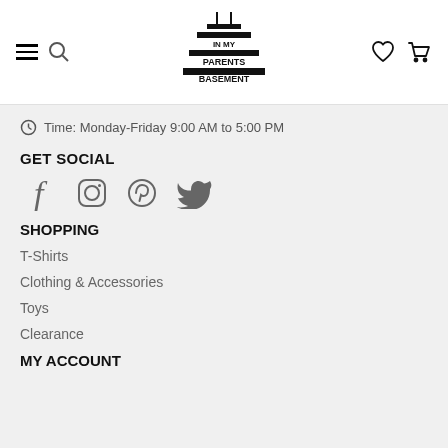In My Parents Basement — navigation header with hamburger, search, logo, heart, cart icons
Time: Monday-Friday 9:00 AM to 5:00 PM
GET SOCIAL
[Figure (infographic): Social media icons: Facebook, Instagram, Pinterest, Twitter]
SHOPPING
T-Shirts
Clothing & Accessories
Toys
Clearance
MY ACCOUNT